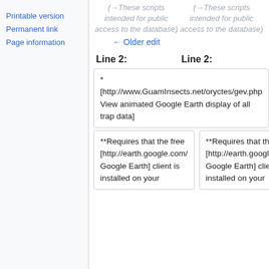Printable version
Permanent link
Page information
(→ These scripts intended for public access to the database)
(→ These scripts intended for public access to the database)
← Older edit
Line 2:
Line 2:
* [http://www.GuamInsects.net/oryctes/gev.php View animated Google Earth display of all trap data]
* [http://www.GuamInsects.net/oryctes/gev.php View animated Google Earth display of all trap data]
**Requires that the free [http://earth.google.com/ Google Earth] client is installed on your
**Requires that the free [http://earth.google.com/ Google Earth] client is installed on your